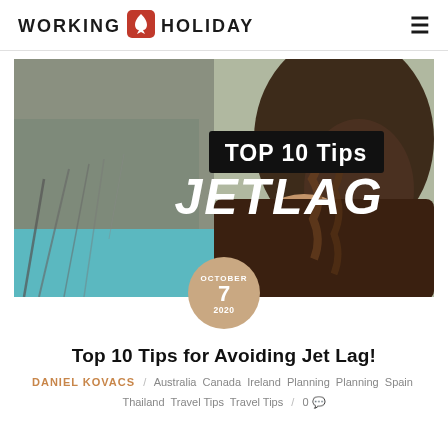WORKING HOLIDAY
[Figure (photo): Hero blog post image showing a person with braided hair resting against a train window, with text overlay 'TOP 10 Tips JETLAG' and a date circle showing October 7, 2020]
Top 10 Tips for Avoiding Jet Lag!
DANIEL KOVACS / Australia Canada Ireland Planning Planning Spain Thailand Travel Tips Travel Tips / 0